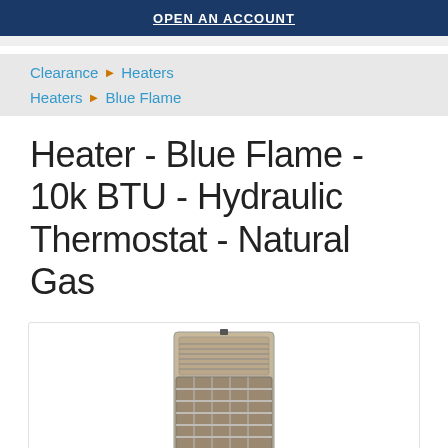OPEN AN ACCOUNT
Clearance ▶ Heaters
Heaters ▶ Blue Flame
Heater - Blue Flame - 10k BTU - Hydraulic Thermostat - Natural Gas
[Figure (photo): Photo of a Blue Flame natural gas wall heater unit with beige/tan casing, metal grille on the front, and a visible blue flame at the bottom interior. The heater is a tall rectangular unit with vents at the top.]